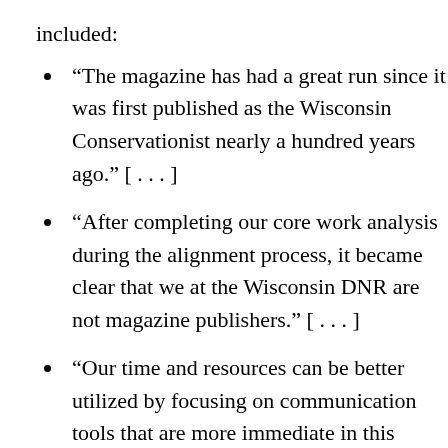included:
“The magazine has had a great run since it was first published as the Wisconsin Conservationist nearly a hundred years ago.” [ . . . ]
“After completing our core work analysis during the alignment process, it became clear that we at the Wisconsin DNR are not magazine publishers.” [ . . . ]
“Our time and resources can be better utilized by focusing on communication tools that are more immediate in this digital age and have the potential of spreading the word of DNR’s mission and